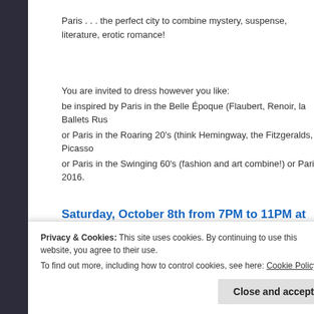Paris . . . the perfect city to combine mystery, suspense, literature, erotic romance!
You are invited to dress however you like:
be inspired by Paris in the Belle Époque (Flaubert, Renoir, la Ballets Rus or Paris in the Roaring 20's (think Hemingway, the Fitzgeralds, Picasso or Paris in the Swinging 60's (fashion and art combine!) or Paris 2016.
Saturday, October 8th from 7PM to 11PM at Indie
[Figure (photo): Book cover or poster image with text 'ZOMBIES ARE PEOPLE TOO' in bold black letters with red blood drops below]
On Saturday nig wonderful author

"After months of
Privacy & Cookies: This site uses cookies. By continuing to use this website, you agree to their use.
To find out more, including how to control cookies, see here: Cookie Policy
Close and accept